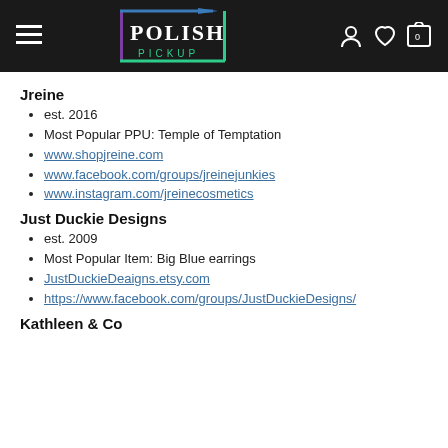Polish Pickup — navigation header with logo, hamburger menu, user/heart/cart icons
Jreine
est. 2016
Most Popular PPU: Temple of Temptation
www.shopjreine.com
www.facebook.com/groups/jreinejunkies
www.instagram.com/jreinecosmetics
Just Duckie Designs
est. 2009
Most Popular Item: Big Blue earrings
JustDuckieDeaigns.etsy.com
https://www.facebook.com/groups/JustDuckieDesigns/
Kathleen & Co